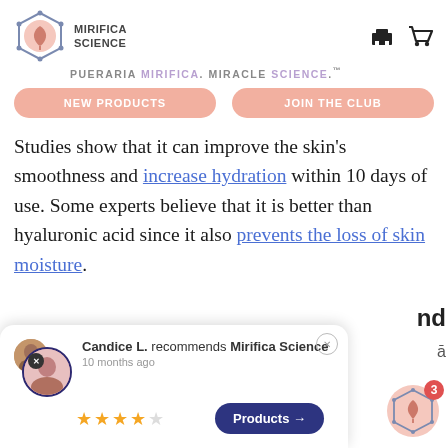[Figure (logo): Mirifica Science hexagon logo with leaf icon]
MIRIFICA SCIENCE
PUERARIA MIRIFICA. MIRACLE SCIENCE.™
NEW PRODUCTS
JOIN THE CLUB
Studies show that it can improve the skin's smoothness and increase hydration within 10 days of use. Some experts believe that it is better than hyaluronic acid since it also prevents the loss of skin moisture.
Candice L. recommends Mirifica Science
10 months ago
[Figure (photo): Review card with avatar photos, 4-star rating, and Products button]